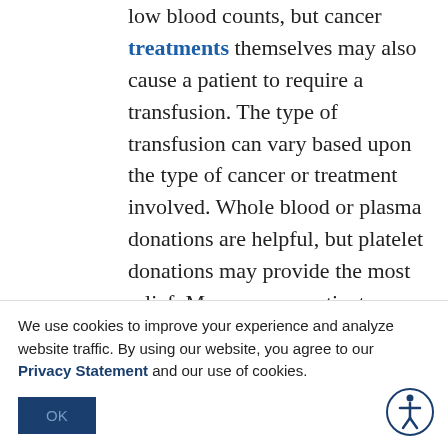low blood counts, but cancer treatments themselves may also cause a patient to require a transfusion. The type of transfusion can vary based upon the type of cancer or treatment involved. Whole blood or plasma donations are helpful, but platelet donations may provide the most relief. Many cancer patients are unable to produce their own platelets or
We use cookies to improve your experience and analyze website traffic. By using our website, you agree to our Privacy Statement and our use of cookies.